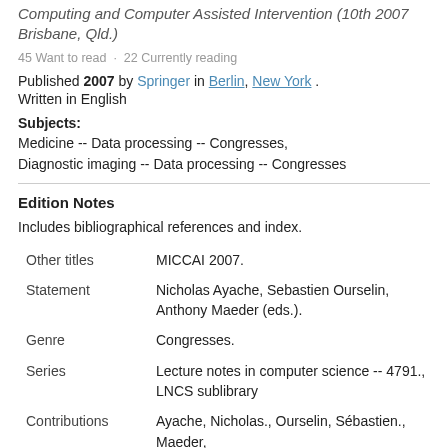Computing and Computer Assisted Intervention (10th 2007 Brisbane, Qld.)
45 Want to read  ·  22 Currently reading
Published 2007 by Springer in Berlin, New York . Written in English
Subjects:
Medicine -- Data processing -- Congresses,
Diagnostic imaging -- Data processing -- Congresses
Edition Notes
Includes bibliographical references and index.
| Field | Value |
| --- | --- |
| Other titles | MICCAI 2007. |
| Statement | Nicholas Ayache, Sebastien Ourselin, Anthony Maeder (eds.). |
| Genre | Congresses. |
| Series | Lecture notes in computer science -- 4791.,
LNCS sublibrary |
| Contributions | Ayache, Nicholas., Ourselin, Sébastien., Maeder, |